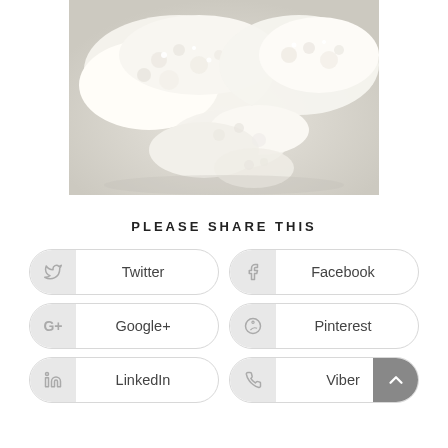[Figure (photo): Close-up photo of white crystalline or fluffy white chunks/pieces arranged on a light gray surface]
PLEASE SHARE THIS
Twitter
Facebook
Google+
Pinterest
LinkedIn
Viber